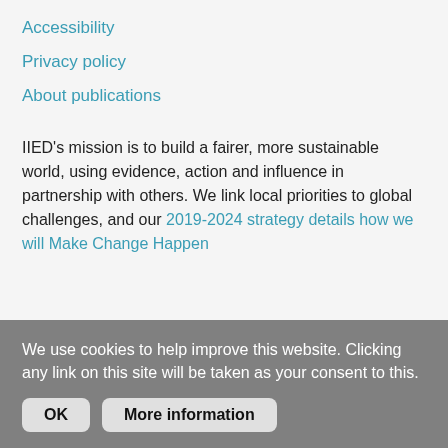Accessibility
Privacy policy
About publications
IIED's mission is to build a fairer, more sustainable world, using evidence, action and influence in partnership with others. We link local priorities to global challenges, and our 2019-2024 strategy details how we will Make Change Happen
We use cookies to help improve this website. Clicking any link on this site will be taken as your consent to this.